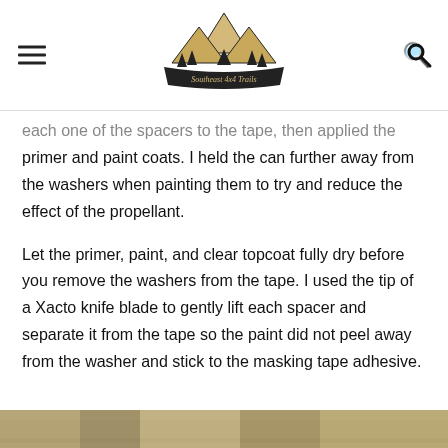Southeast 4x4 Trails (logo)
each one of the spacers to the tape, then applied the primer and paint coats. I held the can further away from the washers when painting them to try and reduce the effect of the propellant.
Let the primer, paint, and clear topcoat fully dry before you remove the washers from the tape. I used the tip of a Xacto knife blade to gently lift each spacer and separate it from the tape so the paint did not peel away from the washer and stick to the masking tape adhesive.
[Figure (photo): Bottom strip showing a partial photo, appears to be outdoor/trail related content]